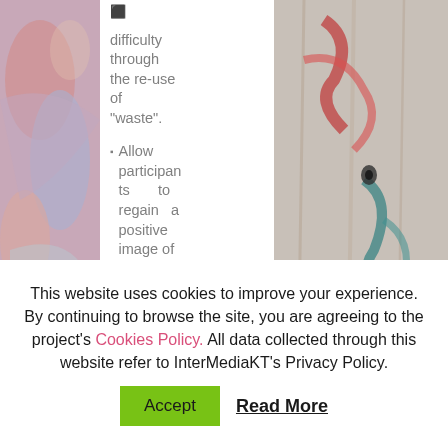[Figure (photo): Abstract colorful painting – left photo]
difficulty through the re-use of "waste".
Allow participants to regain a positive image of themselves through
[Figure (photo): Wooden surface with red and teal paint strokes – right photo]
This website uses cookies to improve your experience. By continuing to browse the site, you are agreeing to the project's Cookies Policy. All data collected through this website refer to InterMediaKT's Privacy Policy.
Accept  Read More